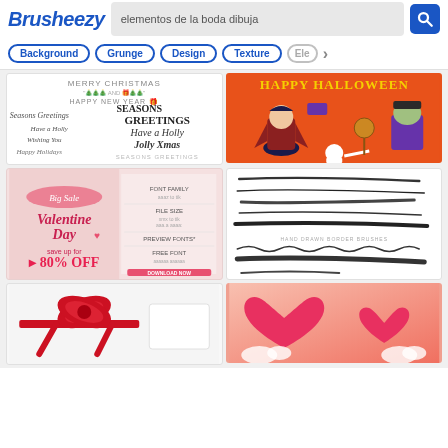[Figure (screenshot): Brusheezy website header with logo, search bar showing 'elementos de la boda dibuja', and search button]
[Figure (screenshot): Navigation bar with category buttons: Background, Grunge, Design, Texture, and partial element]
[Figure (illustration): Christmas/holiday text designs with 'Merry Christmas', 'Seasons Greetings', 'Happy New Year', 'Have a Holly Jolly Xmas' etc.]
[Figure (illustration): Happy Halloween card with cartoon Dracula vampire and Frankenstein monster on orange background]
[Figure (illustration): Valentine's Day Big Sale 80% OFF promotional design]
[Figure (illustration): Hand drawn border brushes collection on white background]
[Figure (illustration): Gift bow ribbon red design on white background]
[Figure (illustration): Pink hearts balloon romantic design on pink/coral background]